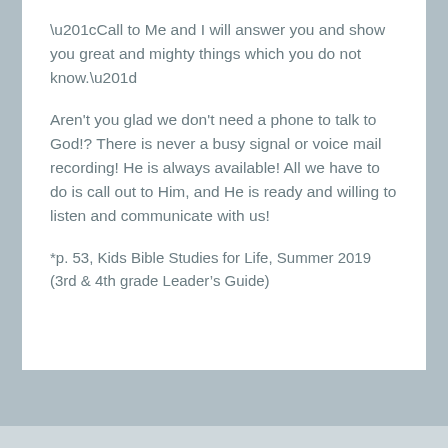“Call to Me and I will answer you and show you great and mighty things which you do not know.”
Aren't you glad we don't need a phone to talk to God!? There is never a busy signal or voice mail recording! He is always available! All we have to do is call out to Him, and He is ready and willing to listen and communicate with us!
*p. 53, Kids Bible Studies for Life, Summer 2019 (3rd & 4th grade Leader’s Guide)